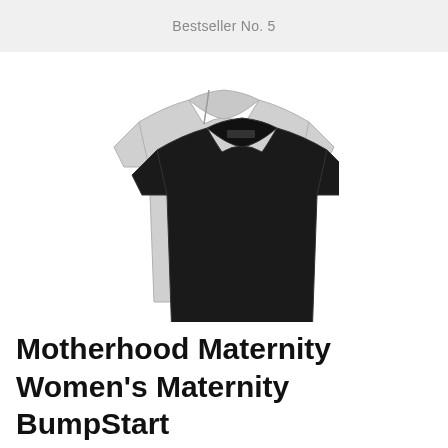Bestseller No. 5
[Figure (photo): Two women's maternity t-shirts layered on top of each other — a light grey heather shirt in the back and a solid black shirt in front, both short-sleeved with scoop necklines.]
Motherhood Maternity Women's Maternity BumpStart